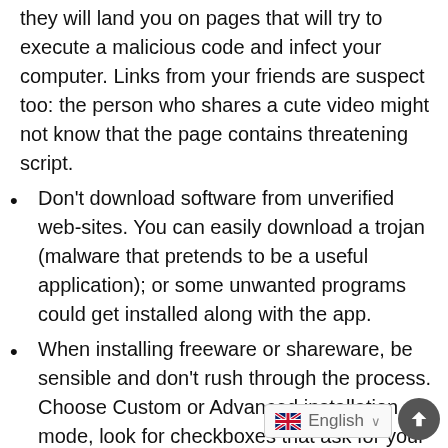they will land you on pages that will try to execute a malicious code and infect your computer. Links from your friends are suspect too: the person who shares a cute video might not know that the page contains threatening script.
Don't download software from unverified web-sites. You can easily download a trojan (malware that pretends to be a useful application); or some unwanted programs could get installed along with the app.
When installing freeware or shareware, be sensible and don't rush through the process. Choose Custom or Advanced installation mode, look for checkboxes that ask for your permission to install third-party apps and uncheck them, read End User License Agreement to make sure no...